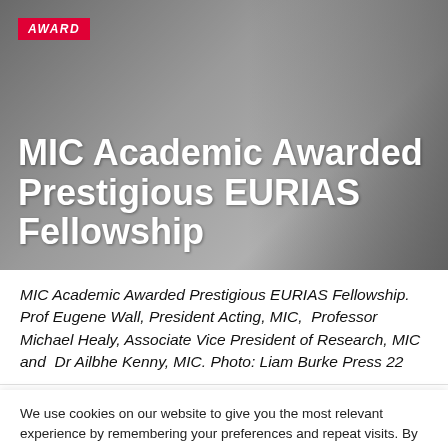[Figure (photo): Hero image showing people shaking hands with a dark/grey background, overlaid with 'AWARD' badge and title text]
MIC Academic Awarded Prestigious EURIAS Fellowship
MIC Academic Awarded Prestigious EURIAS Fellowship. Prof Eugene Wall, President Acting, MIC, Professor Michael Healy, Associate Vice President of Research, MIC and Dr Ailbhe Kenny, MIC. Photo: Liam Burke Press 22
We use cookies on our website to give you the most relevant experience by remembering your preferences and repeat visits. By clicking “Accept All”, you consent to the use of ALL the cookies. However, you may visit “Cookie Settings” to provide a controlled consent.